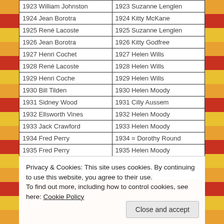| Men's Champion | Women's Champion |
| --- | --- |
| 1923 William Johnston | 1923 Suzanne Lenglen |
| 1924 Jean Borotra | 1924 Kitty McKane |
| 1925 René Lacoste | 1925 Suzanne Lenglen |
| 1926 Jean Borotra | 1926 Kitty Godfree |
| 1927 Henri Cochet | 1927 Helen Wills |
| 1928 René Lacoste | 1928 Helen Wills |
| 1929 Henri Coche | 1929 Helen Wills |
| 1930 Bill Tilden | 1930 Helen Moody |
| 1931 Sidney Wood | 1931 Cilly Aussem |
| 1932 Ellsworth Vines | 1932 Helen Moody |
| 1933 Jack Crawford | 1933 Helen Moody |
| 1934 Fred Perry | 1934 = Dorothy Round |
| 1935 Fred Perry | 1935 Helen Moody |
| 1936 Fred Perry | 1936 Helen Jacobs |
| 1937 Don Budge | 1937 Dorothy Round |
Privacy & Cookies: This site uses cookies. By continuing to use this website, you agree to their use.
To find out more, including how to control cookies, see here: Cookie Policy